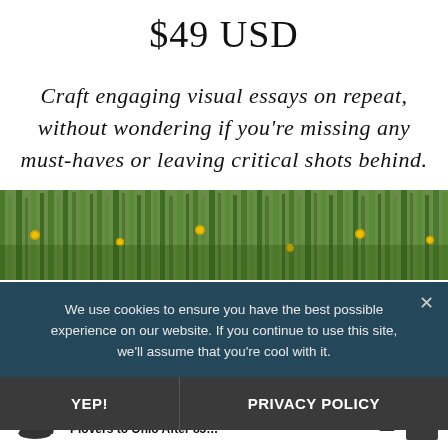$49 USD
Craft engaging visual essays on repeat, without wondering if you're missing any must-haves or leaving critical shots behind.
[Figure (photo): Close-up photograph of tall green reeds and yellow wildflowers in a natural setting]
We use cookies to ensure you have the best possible experience on our website. If you continue to use this site, we'll assume that you're cool with it.
YEP!
PRIVACY POLICY
Fil... Plovers to Ohio After 83...